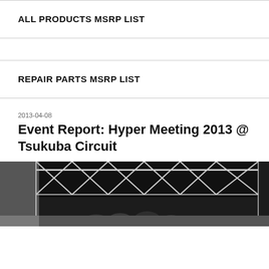ALL PRODUCTS MSRP LIST
REPAIR PARTS MSRP LIST
2013-04-08
Event Report: Hyper Meeting 2013 @ Tsukuba Circuit
[Figure (photo): Photo of people under a tent/canopy structure at Tsukuba Circuit, taken at Hyper Meeting 2013]